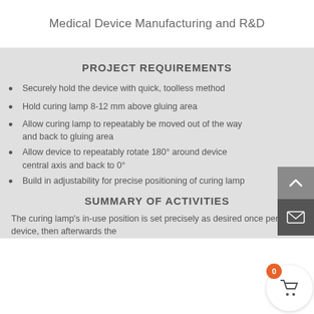Medical Device Manufacturing and R&D
PROJECT REQUIREMENTS
Securely hold the device with quick, toolless method
Hold curing lamp 8-12 mm above gluing area
Allow curing lamp to repeatably be moved out of the way and back to gluing area
Allow device to repeatably rotate 180° around device central axis and back to 0°
Build in adjustability for precise positioning of curing lamp
SUMMARY OF ACTIVITIES
The curing lamp's in-use position is set precisely as desired once per set of device, then afterwards the